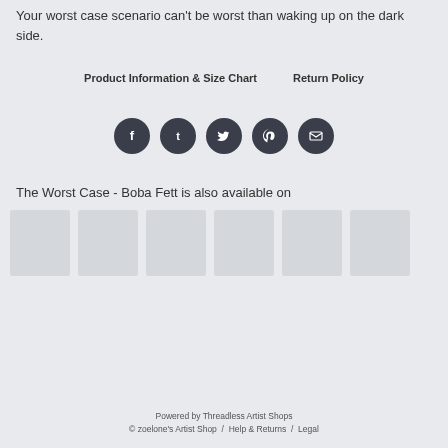Your worst case scenario can't be worst than waking up on the dark side.
Product Information & Size Chart    Return Policy
[Figure (infographic): Row of 5 social media icon circles (Facebook, Tumblr, Twitter, Pinterest, Email) in dark circular buttons]
The Worst Case - Boba Fett is also available on
[Figure (infographic): Row of 6 product thumbnail placeholder boxes in light gray]
Powered by Threadless Artist Shops
© zoelone's Artist Shop  /  Help & Returns  /  Legal